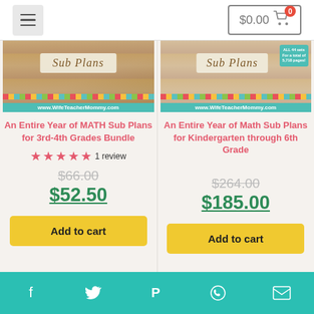$0.00 cart
[Figure (screenshot): Sub Plans product image for 3rd-4th Grade Bundle from WifeTeacherMommy.com]
An Entire Year of MATH Sub Plans for 3rd-4th Grades Bundle
★★★★★ 1 review
$66.00
$52.50
Add to cart
[Figure (screenshot): Sub Plans bundle product image for Kindergarten through 6th Grade from WifeTeacherMommy.com, with badge: ALL 44 sets For a total of 5,718 pages!]
An Entire Year of Math Sub Plans for Kindergarten through 6th Grade
$264.00
$185.00
Add to cart
Social share icons: Facebook, Twitter, Pinterest, WhatsApp, Email